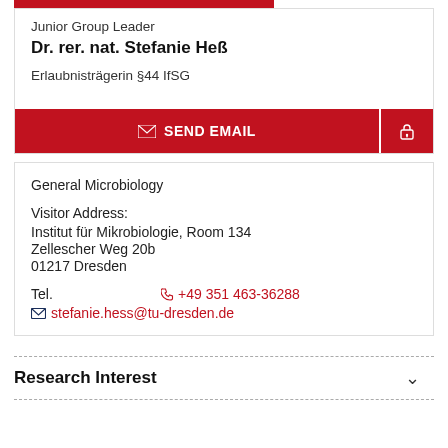Junior Group Leader
Dr. rer. nat. Stefanie Heß
Erlaubnisträgerin §44 IfSG
✉ SEND EMAIL
General Microbiology
Visitor Address:
Institut für Mikrobiologie, Room 134
Zellescher Weg 20b
01217 Dresden
Tel.  +49 351 463-36288
stefanie.hess@tu-dresden.de
Research Interest